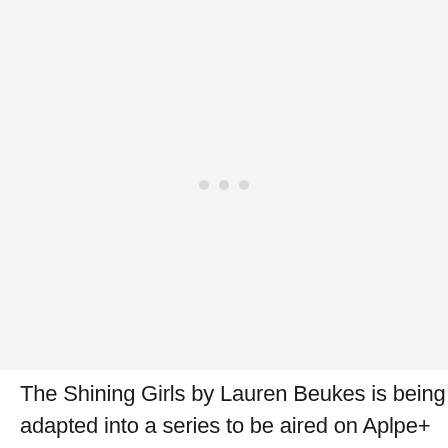[Figure (other): Large light gray placeholder image area with three small gray dots centered in the middle, indicating a loading or placeholder state.]
The Shining Girls by Lauren Beukes is being adapted into a series to be aired on Aplpe+ starring Elizabeth